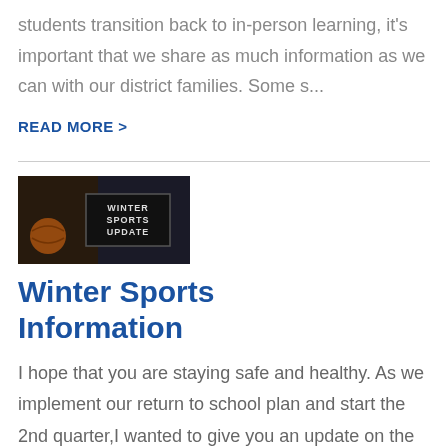students transition back to in-person learning, it's important that we share as much information as we can with our district families. Some s...
READ MORE >
[Figure (photo): Thumbnail image with text overlay reading WINTER SPORTS UPDATE on dark background]
Winter Sports Information
I hope that you are staying safe and healthy. As we implement our return to school plan and start the 2nd quarter,I wanted to give you an update on the latest happenings regarding...